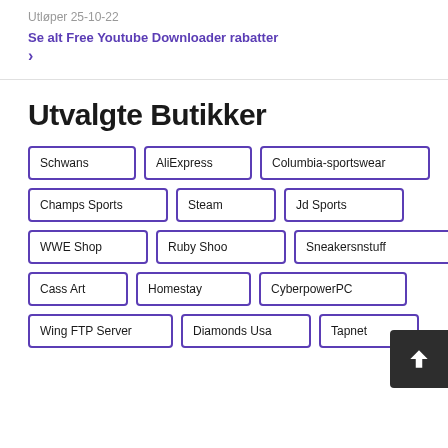Utløper 25-10-22
Se alt Free Youtube Downloader rabatter >
Utvalgte Butikker
Schwans
AliExpress
Columbia-sportswear
Champs Sports
Steam
Jd Sports
WWE Shop
Ruby Shoo
Sneakersnstuff
Cass Art
Homestay
CyberpowerPC
Wing FTP Server
Diamonds Usa
Tapnet